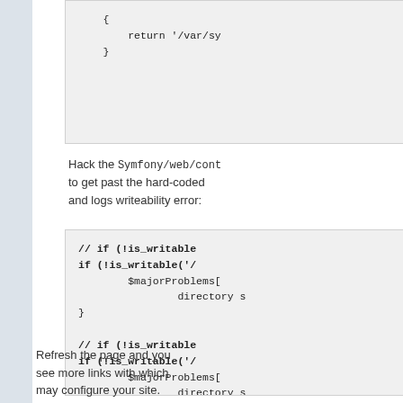[Figure (screenshot): Code block showing return '/var/sy...' and closing brace]
Hack the Symfony/web/con... to get past the hard-coded... and logs writeability error:
[Figure (screenshot): Code block showing commented and uncommented is_writable checks with $majorProblems and directory s... repeated twice]
Refresh the page and you... see more links with which... may configure your site.